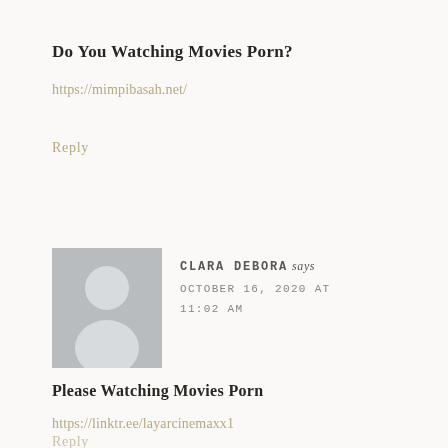Do You Watching Movies Porn?
https://mimpibasah.net/
Reply
CLARA DEBORA says
OCTOBER 16, 2020 AT 11:02 AM
Please Watching Movies Porn
https://linktr.ee/layarcinemaxx1
Reply